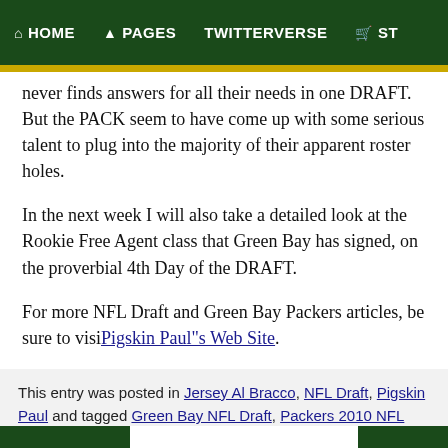HOME  PAGES  TWITTERVERSE  ST
never finds answers for all their needs in one DRAFT. But the PACK seem to have come up with some serious talent to plug into the majority of their apparent roster holes.
In the next week I will also take a detailed look at the Rookie Free Agent class that Green Bay has signed, on the proverbial 4th Day of the DRAFT.
For more NFL Draft and Green Bay Packers articles, be sure to visit Pigskin Paul’s Web Site.
This entry was posted in Jersey Al Bracco, NFL Draft, Pigskin Paul and tagged Green Bay NFL Draft, Packers 2010 NFL Draft, Packers NFL Draft Analysis, Pigskin Paul. Bookmark the permalink.